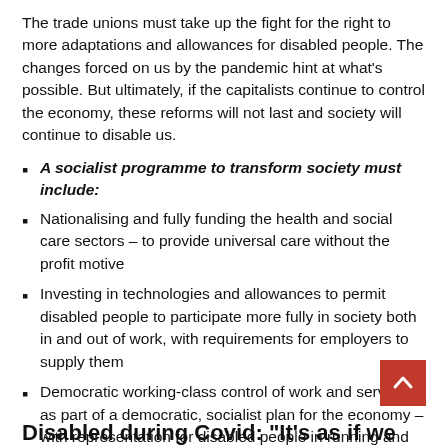The trade unions must take up the fight for the right to more adaptations and allowances for disabled people. The changes forced on us by the pandemic hint at what’s possible. But ultimately, if the capitalists continue to control the economy, these reforms will not last and society will continue to disable us.
A socialist programme to transform society must include:
Nationalising and fully funding the health and social care sectors – to provide universal care without the profit motive
Investing in technologies and allowances to permit disabled people to participate more fully in society both in and out of work, with requirements for employers to supply them
Democratic working-class control of work and services, as part of a democratic, socialist plan for the economy – with representation for disabled people in running and planning services: nothing for us, without us
Disabled during Covid: “It’s as if we